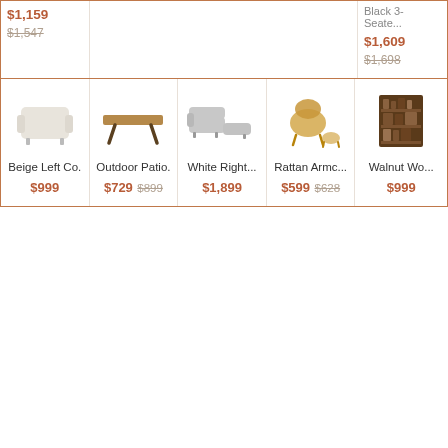| Product | Name | Price |
| --- | --- | --- |
| (partial top-left item) | $1,159 | $1,547 (strikethrough) |
| (partial top-right item: Black 3-Seater...) | $1,609 | $1,698 (strikethrough) |
| Beige Left Co. |  | $999 |
| Outdoor Patio. |  | $729 / $899 |
| White Right... |  | $1,899 |
| Rattan Armc... |  | $599 / $628 |
| Walnut Wo... |  | $999 |